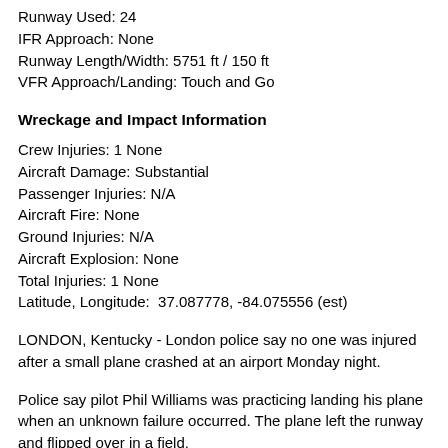Runway Used: 24
IFR Approach: None
Runway Length/Width: 5751 ft / 150 ft
VFR Approach/Landing: Touch and Go
Wreckage and Impact Information
Crew Injuries: 1 None
Aircraft Damage: Substantial
Passenger Injuries: N/A
Aircraft Fire: None
Ground Injuries: N/A
Aircraft Explosion: None
Total Injuries: 1 None
Latitude, Longitude:  37.087778, -84.075556 (est)
LONDON, Kentucky - London police say no one was injured after a small plane crashed at an airport Monday night.
Police say pilot Phil Williams was practicing landing his plane when an unknown failure occurred. The plane left the runway and flipped over in a field.